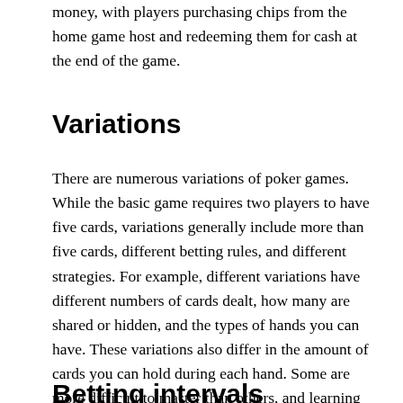money, with players purchasing chips from the home game host and redeeming them for cash at the end of the game.
Variations
There are numerous variations of poker games. While the basic game requires two players to have five cards, variations generally include more than five cards, different betting rules, and different strategies. For example, different variations have different numbers of cards dealt, how many are shared or hidden, and the types of hands you can have. These variations also differ in the amount of cards you can hold during each hand. Some are more difficult to master than others, and learning them will improve your overall game.
Betting intervals